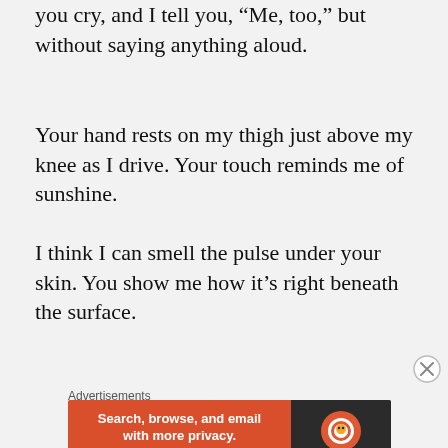you cry, and I tell you, “Me, too,” but without saying anything aloud.
Your hand rests on my thigh just above my knee as I drive. Your touch reminds me of sunshine.
I think I can smell the pulse under your skin. You show me how it’s right beneath the surface.
I make you promise to dance with me in the kitchen.
Advertisements
[Figure (other): DuckDuckGo advertisement banner: orange background with text 'Search, browse, and email with more privacy. All in One Free App' and DuckDuckGo logo on dark background]